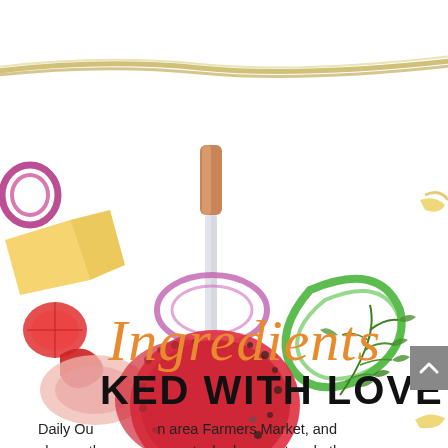[Figure (illustration): Food ingredients illustration: a diagonal rope at the top, various fresh food items including red onion ring, cheese slices, tomato slice, chili pepper, ham/prosciutto, green bell pepper ring, a kitchen knife with a wooden handle, salami/meat slices, dill herb sprigs, pasta, and other produce scattered across a white background. A gray scroll-to-top button is visible at the bottom right.]
Ingredients
KED WITH LOVE
Daily Ou... area Farmers Market, and choose th... vegets, herbs, meat and other